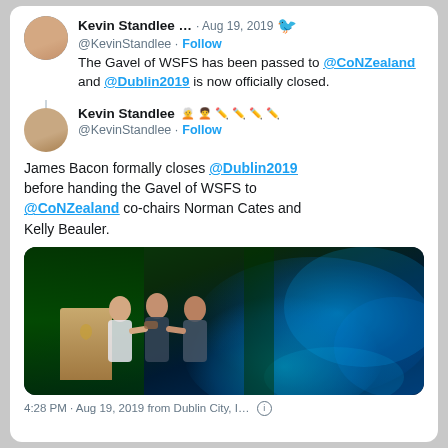Kevin Standlee … · Aug 19, 2019 @KevinStandlee · Follow
The Gavel of WSFS has been passed to @CoNZealand and @Dublin2019 is now officially closed.
Kevin Standlee 🧑‍🦳 🧑‍🦱 ✏️ ✏️ ✏️ ✏️ @KevinStandlee · Follow
James Bacon formally closes @Dublin2019 before handing the Gavel of WSFS to @CoNZealand co-chairs Norman Cates and Kelly Beauler.
[Figure (photo): Photo of people on a stage at Dublin 2019, with blue and green lighting, a podium on the left, and several people standing together presumably handing over a gavel.]
4:28 PM · Aug 19, 2019 from Dublin City, I…  ⓘ